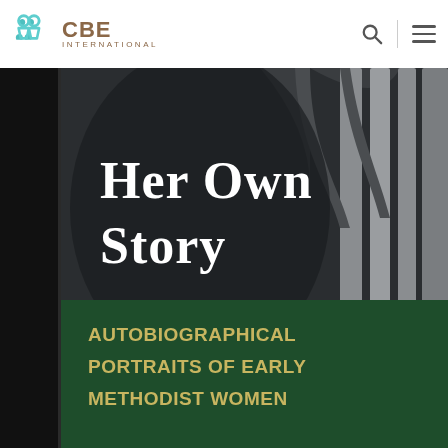CBE International
[Figure (photo): Book cover of 'Her Own Story: Autobiographical Portraits of Early Methodist Women' published by Kingswood Books. The cover shows gothic architectural columns on a dark background. The top half displays the title 'Her Own Story' in large white text, and the bottom half has a dark green band with the subtitle 'Autobiographical Portraits of Early Methodist Women' in gold/yellow text. The book spine on the left reads 'Kingswood Books' vertically.]